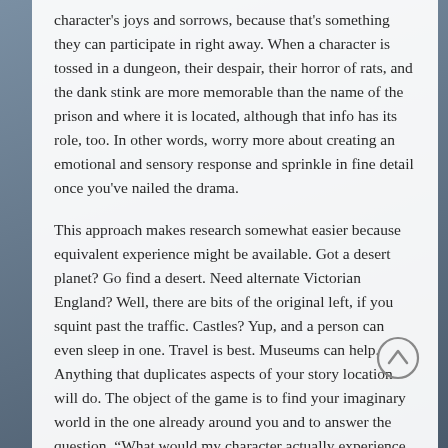character's joys and sorrows, because that's something they can participate in right away. When a character is tossed in a dungeon, their despair, their horror of rats, and the dank stink are more memorable than the name of the prison and where it is located, although that info has its role, too. In other words, worry more about creating an emotional and sensory response and sprinkle in fine detail once you've nailed the drama.
This approach makes research somewhat easier because equivalent experience might be available. Got a desert planet? Go find a desert. Need alternate Victorian England? Well, there are bits of the original left, if you squint past the traffic. Castles? Yup, and a person can even sleep in one. Travel is best. Museums can help. Anything that duplicates aspects of your story location will do. The object of the game is to find your imaginary world in the one already around you and to answer the question, “What would my character actually experience if...”
While you’re making the rounds, keep a journal and pay attention to everything. High mountain air feels different